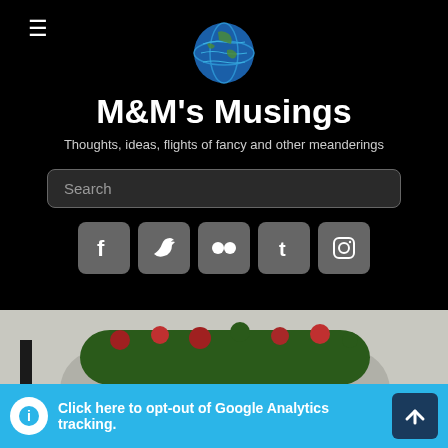M&M's Musings — Thoughts, ideas, flights of fancy and other meanderings
M&M's Musings
Thoughts, ideas, flights of fancy and other meanderings
[Figure (screenshot): Search box with placeholder text 'Search']
[Figure (infographic): Five social media icon buttons: Facebook, Twitter, Flickr, Tumblr, Instagram]
[Figure (photo): Street scene with orange and black road closed barriers and a 'ROAD CLOSED' sign in front of a concrete planter with flowers]
Click here to opt-out of Google Analytics tracking.